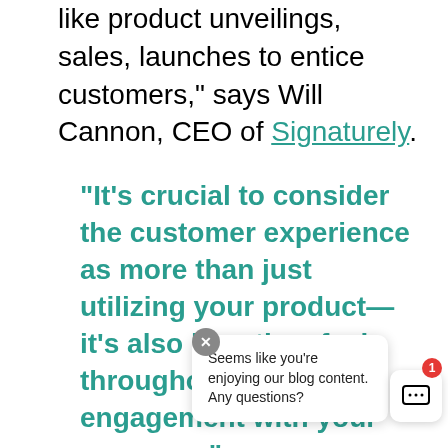like product unveilings, sales, launches to entice customers," says Will Cannon, CEO of Signaturely.
"It's crucial to consider the customer experience as more than just utilizing your product—it's also how they feel throughout the whole engagement with your company."
Seems like you're enjoying our blog content. Any questions?